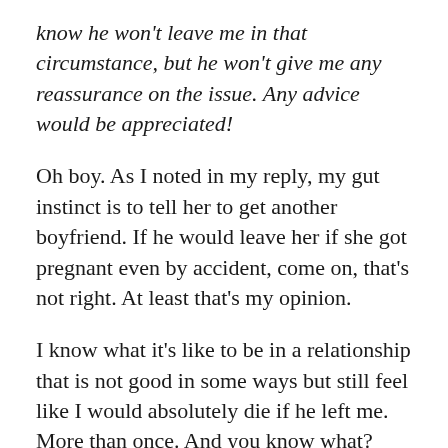know he won't leave me in that circumstance, but he won't give me any reassurance on the issue. Any advice would be appreciated!
Oh boy. As I noted in my reply, my gut instinct is to tell her to get another boyfriend. If he would leave her if she got pregnant even by accident, come on, that's not right. At least that's my opinion.
I know what it's like to be in a relationship that is not good in some ways but still feel like I would absolutely die if he left me. More than once. And you know what? Eventually these men dumped me. Maybe I was too clingy. Maybe I scared them with my dreams of marriage and children and a nice house in the